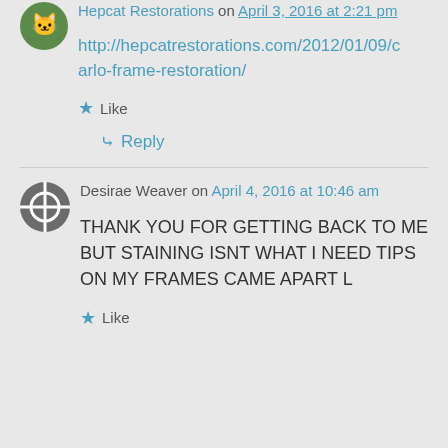Hepcat Restorations on April 3, 2016 at 2:21 pm
http://hepcatrestorations.com/2012/01/09/carlo-frame-restoration/
Like
Reply
Desirae Weaver on April 4, 2016 at 10:46 am
THANK YOU FOR GETTING BACK TO ME BUT STAINING ISNT WHAT I NEED TIPS ON MY FRAMES CAME APART L
Like